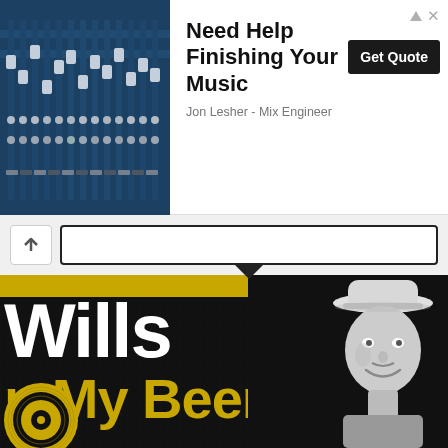[Figure (screenshot): Advertisement banner at top of page. Left side shows a photo of a music mixing board/console with blue tones. Right side shows text 'Need Help Finishing Your Music', a black 'Get Quote' button, and subtitle 'Jon Lesher - Mix Engineer'. Small triangle ad icon and X close button in top right.]
[Figure (screenshot): Browser navigation bar with back button (chevron/caret up icon) and address bar with black border. A downward-pointing black triangle arrow below the address bar.]
[Figure (screenshot): Lower portion shows a cropped album cover with black background and gold top bar. White large text 'Wills' (partially cropped on left) and gold text 'My Beer' (partially cropped). A gold vinyl record partially visible at bottom left. A black-and-white photo of a smiling older man wearing a cowboy hat on the right side. Faint grid pattern overlay on image.]